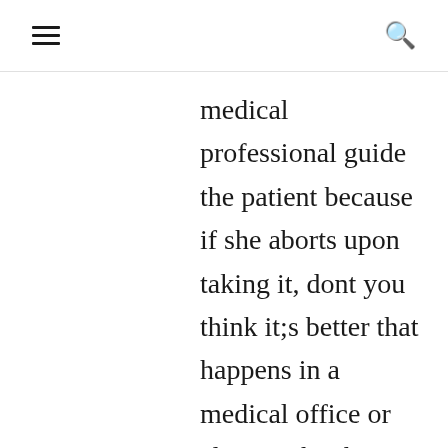≡  🔍
medical professional guide the patient because if she aborts upon taking it, dont you think it;s better that happens in a medical office or clinic vs her home, car or on her job? But if FDA allows mail order and enough states try to